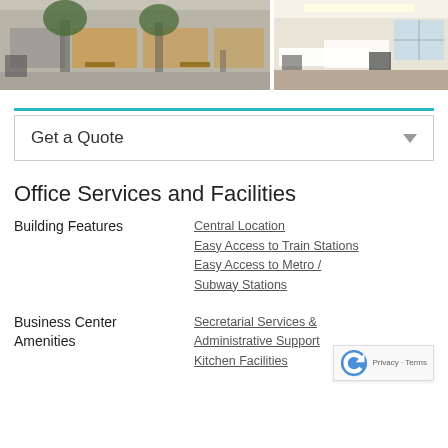[Figure (photo): Street-level view of a commercial building with shops and trees with benches on sidewalk]
[Figure (photo): Interior office space with white desks and chairs, bright with natural light]
Get a Quote
Office Services and Facilities
Building Features
Central Location
Easy Access to Train Stations
Easy Access to Metro / Subway Stations
Business Center Amenities
Secretarial Services & Administrative Support
Kitchen Facilities